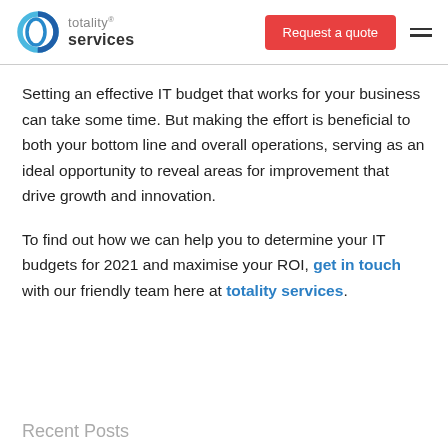totality® services | Request a quote
Setting an effective IT budget that works for your business can take some time. But making the effort is beneficial to both your bottom line and overall operations, serving as an ideal opportunity to reveal areas for improvement that drive growth and innovation.
To find out how we can help you to determine your IT budgets for 2021 and maximise your ROI, get in touch with our friendly team here at totality services.
Recent Posts